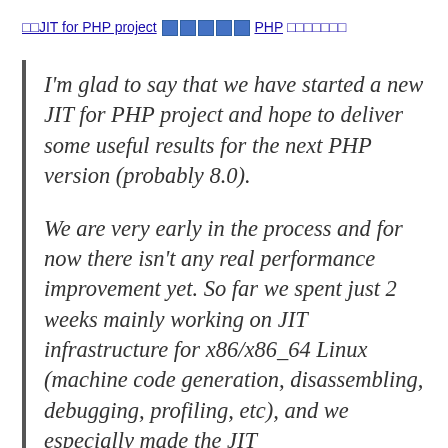JIT for PHP project □□□□□ PHP □□□□□□□
I'm glad to say that we have started a new JIT for PHP project and hope to deliver some useful results for the next PHP version (probably 8.0).
We are very early in the process and for now there isn't any real performance improvement yet. So far we spent just 2 weeks mainly working on JIT infrastructure for x86/x86_64 Linux (machine code generation, disassembling, debugging, profiling, etc), and we especially made the JIT